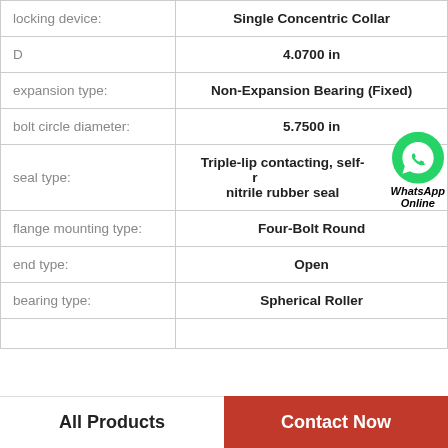| Property | Value |
| --- | --- |
| locking device: | Single Concentric Collar |
| D | 4.0700 in |
| expansion type: | Non-Expansion Bearing (Fixed) |
| bolt circle diameter: | 5.7500 in |
| seal type: | Triple-lip contacting, self-retaining, nitrile rubber seal |
| flange mounting type: | Four-Bolt Round |
| end type: | Open |
| bearing type: | Spherical Roller |
|  |  |
All Products   Contact Now